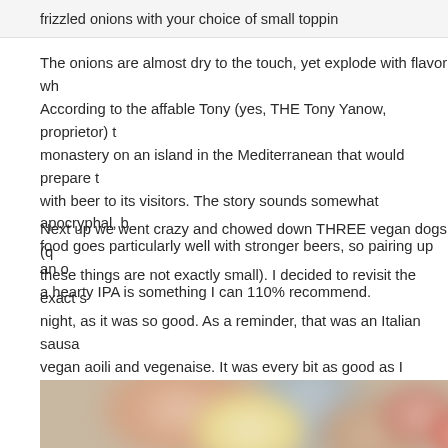frizzled onions with your choice of small topping
The onions are almost dry to the touch, yet explode with flavor wh... According to the affable Tony (yes, THE Tony Yanow, proprietor) t... monastery on an island in the Mediterranean that would prepare t... with beer to its visitors. The story sounds somewhat apocryphal, b... food goes particularly well with stronger beers, so pairing up an o... a hearty IPA is something I can 110% recommend.
Next up we went crazy and chowed down THREE vegan dogs (q... these things are not exactly small). I decided to revisit the exact s... night, as it was so good. As a reminder, that was an Italian sausa... vegan aoili and vegenaise. It was every bit as good as I remembe...
[Figure (photo): Blurry close-up photo of food, likely a vegan hot dog or sausage with toppings, with soft focus and warm tones.]